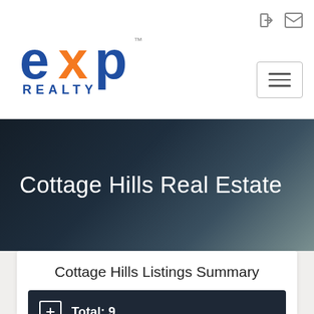[Figure (logo): eXp Realty logo — blue stylized 'exp' text with orange X accent and 'REALTY' below]
Cottage Hills Real Estate
Cottage Hills Listings Summary
Total: 9